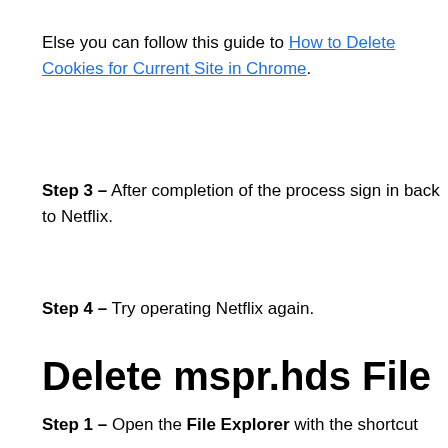Else you can follow this guide to How to Delete Cookies for Current Site in Chrome.
Step 3 – After completion of the process sign in back to Netflix.
Step 4 – Try operating Netflix again.
Delete mspr.hds File
Step 1 – Open the File Explorer with the shortcut